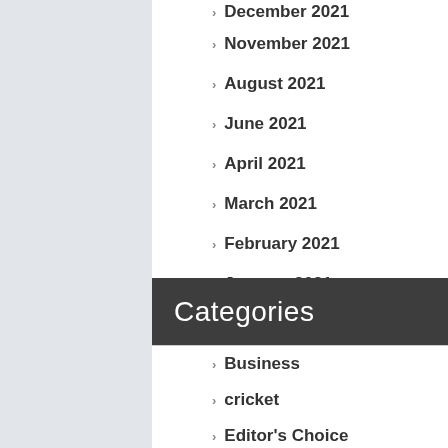December 2021
November 2021
August 2021
June 2021
April 2021
March 2021
February 2021
January 2021
Categories
Business
cricket
Editor's Choice
Education